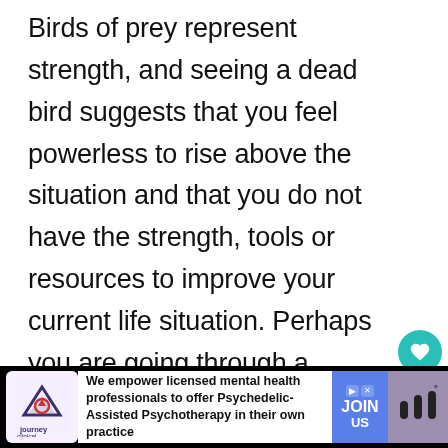Birds of prey represent strength, and seeing a dead bird suggests that you feel powerless to rise above the situation and that you do not have the strength, tools or resources to improve your current life situation. Perhaps you are going through a divorce, layoff, or are otherwise trapped in an unbearable situation.
[Figure (other): Social interaction buttons: a teal heart/like button, a count of 1, and a share button]
[Figure (other): Advertisement banner: Journey Clinical logo, text 'We empower licensed mental health professionals to offer Psychedelic-Assisted Psychotherapy in their own practice', JOIN US button, and a brand logo on right]